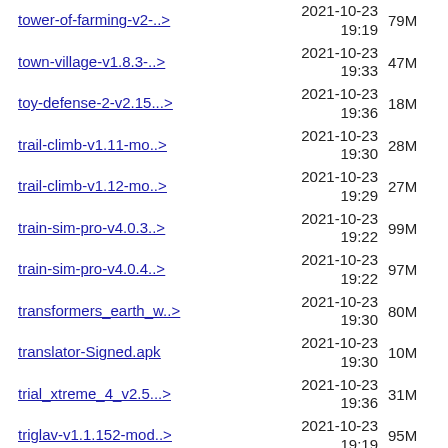tower-of-farming-v2-..>  2021-10-23 19:19  79M
town-village-v1.8.3-..>  2021-10-23 19:33  47M
toy-defense-2-v2.15...>  2021-10-23 19:36  18M
trail-climb-v1.11-mo..>  2021-10-23 19:30  28M
trail-climb-v1.12-mo..>  2021-10-23 19:29  27M
train-sim-pro-v4.0.3..>  2021-10-23 19:22  99M
train-sim-pro-v4.0.4..>  2021-10-23 19:22  97M
transformers_earth_w..>  2021-10-23 19:30  80M
translator-Signed.apk  2021-10-23 19:30  10M
trial_xtreme_4_v2.5...>  2021-10-23 19:36  31M
triglav-v1.1.152-mod..>  2021-10-23 19:19  95M